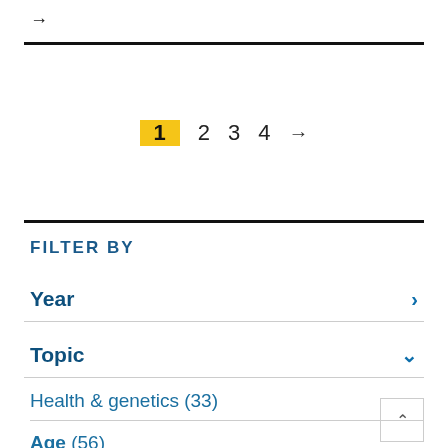→
1  2  3  4  →
FILTER BY
Year  >
Topic  ∨
Health & genetics (33)
Age (56)